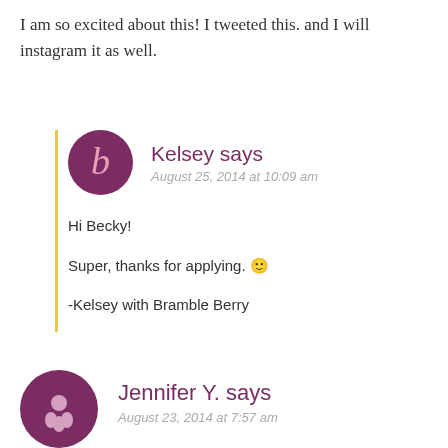I am so excited about this! I tweeted this. and I will instagram it as well.
Kelsey says
August 25, 2014 at 10:09 am

Hi Becky!

Super, thanks for applying. 🙂

-Kelsey with Bramble Berry
Jennifer Y. says
August 23, 2014 at 7:57 am